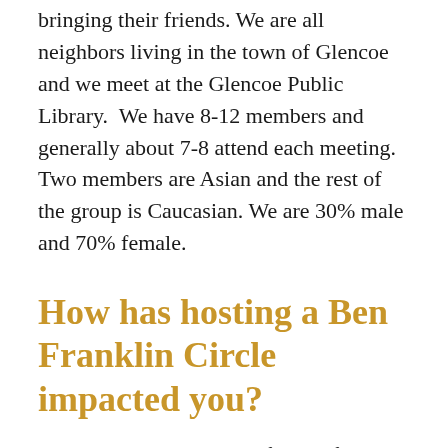bringing their friends. We are all neighbors living in the town of Glencoe and we meet at the Glencoe Public Library.  We have 8-12 members and generally about 7-8 attend each meeting. Two members are Asian and the rest of the group is Caucasian. We are 30% male and 70% female.
How has hosting a Ben Franklin Circle impacted you?
The meetings are purposeful and focused, and everyone has a chance to contribute and share. As the host, I run ahead a little to explore the